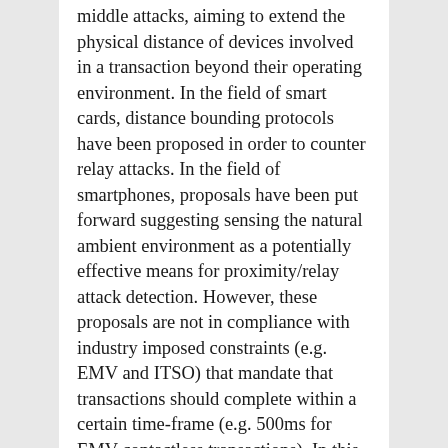middle attacks, aiming to extend the physical distance of devices involved in a transaction beyond their operating environment. In the field of smart cards, distance bounding protocols have been proposed in order to counter relay attacks. In the field of smartphones, proposals have been put forward suggesting sensing the natural ambient environment as a potentially effective means for proximity/relay attack detection. However, these proposals are not in compliance with industry imposed constraints (e.g. EMV and ITSO) that mandate that transactions should complete within a certain time-frame (e.g. 500ms for EMV contactless transactions). In this research thread we evaluated the effectiveness of ambient sensors, widely available in modern smartphones, as a proximity/relay attack detection method for time restricted contactless